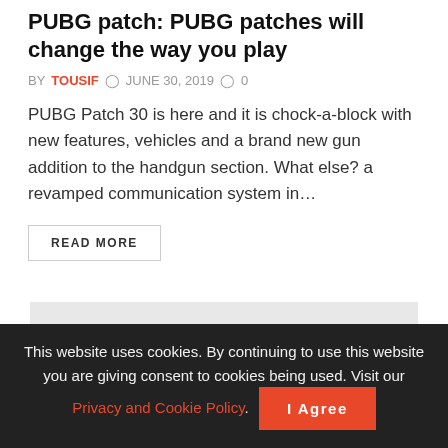PUBG patch: PUBG patches will change the way you play
BY TOUSIF  JUNE 30, 2019  0
PUBG Patch 30 is here and it is chock-a-block with new features, vehicles and a brand new gun addition to the handgun section. What else? a revamped communication system in…
READ MORE
[Figure (other): Gray advertisement placeholder block]
This website uses cookies. By continuing to use this website you are giving consent to cookies being used. Visit our Privacy and Cookie Policy.  I Agree